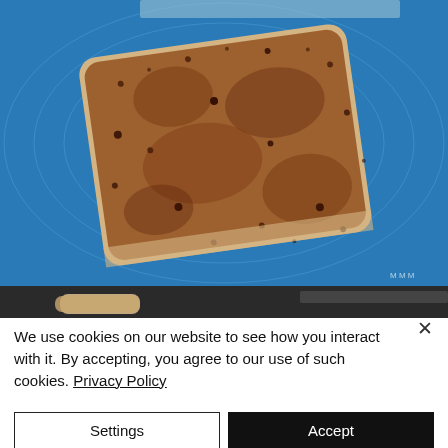[Figure (photo): Flattened bread dough rolled out on a blue silicone baking mat, heavily sprinkled with cinnamon and dark brown sugar filling, photographed from above.]
[Figure (photo): Partial view of a second photo showing dough on a dark baking tray, visible at the bottom of the page behind the cookie consent banner.]
We use cookies on our website to see how you interact with it. By accepting, you agree to our use of such cookies. Privacy Policy
Settings
Accept